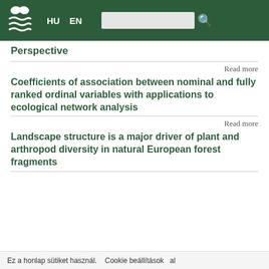HU EN [search bar] [search icon]
Perspective
Read more
Coefficients of association between nominal and fully ranked ordinal variables with applications to ecological network analysis
Read more
Landscape structure is a major driver of plant and arthropod diversity in natural European forest fragments
Ez a honlap sütiket használ. Cookie beállítások al